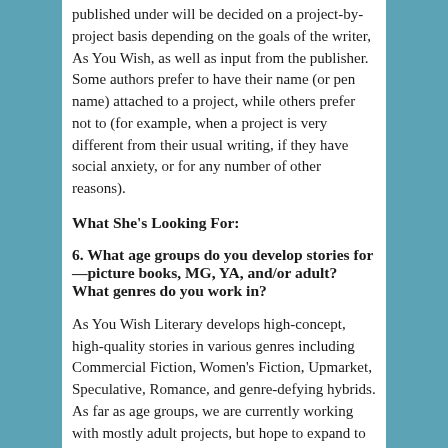The determination of what name the book will be published under will be decided on a project-by-project basis depending on the goals of the writer, As You Wish, as well as input from the publisher. Some authors prefer to have their name (or pen name) attached to a project, while others prefer not to (for example, when a project is very different from their usual writing, if they have social anxiety, or for any number of other reasons).
What She's Looking For:
6. What age groups do you develop stories for—picture books, MG, YA, and/or adult? What genres do you work in?
As You Wish Literary develops high-concept, high-quality stories in various genres including Commercial Fiction, Women's Fiction, Upmarket, Speculative, Romance, and genre-defying hybrids. As far as age groups, we are currently working with mostly adult projects, but hope to expand to YA and MG in the coming months.